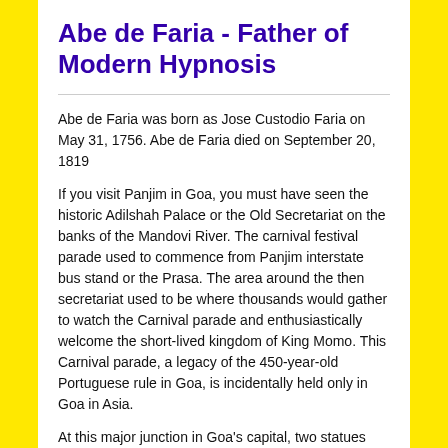Abe de Faria - Father of Modern Hypnosis
Abe de Faria was born as Jose Custodio Faria on May 31, 1756. Abe de Faria died on September 20, 1819
If you visit Panjim in Goa, you must have seen the historic Adilshah Palace or the Old Secretariat on the banks of the Mandovi River. The carnival festival parade used to commence from Panjim interstate bus stand or the Prasa. The area around the then secretariat used to be where thousands would gather to watch the Carnival parade and enthusiastically welcome the short-lived kingdom of King Momo. This Carnival parade, a legacy of the 450-year-old Portuguese rule in Goa, is incidentally held only in Goa in Asia.
At this major junction in Goa's capital, two statues have been installed on two sides of the medieval Adilshah Palace. One statue is of Goa, Daman and Diu Union Territory's first Chief Minister, Dayanand Bandodkar. The posture of the statue on the other side is bound to evoke curiosity among people. When observed closely, it is the statue of a cloak-wearing man trying to hypnotise a woman who is about to fall into a trance.